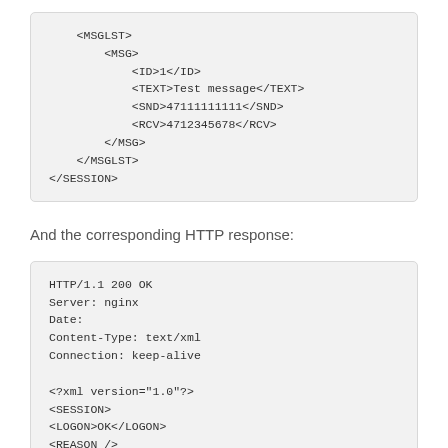[Figure (screenshot): Code block showing XML snippet with MSGLST, MSG, ID, TEXT, SND, RCV tags and SESSION closing tag]
And the corresponding HTTP response:
[Figure (screenshot): Code block showing HTTP/1.1 200 OK response headers and XML body with SESSION, LOGON, REASON, and partial MSGLST tags]